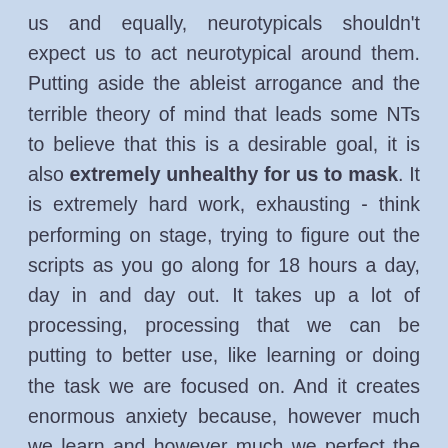us and equally, neurotypicals shouldn't expect us to act neurotypical around them. Putting aside the ableist arrogance and the terrible theory of mind that leads some NTs to believe that this is a desirable goal, it is also extremely unhealthy for us to mask. It is extremely hard work, exhausting - think performing on stage, trying to figure out the scripts as you go along for 18 hours a day, day in and day out. It takes up a lot of processing, processing that we can be putting to better use, like learning or doing the task we are focused on. And it creates enormous anxiety because, however much we learn and however much we perfect the performance, things will go wrong and we will get attacked - and it will feel like it is our fault for getting it wrong.